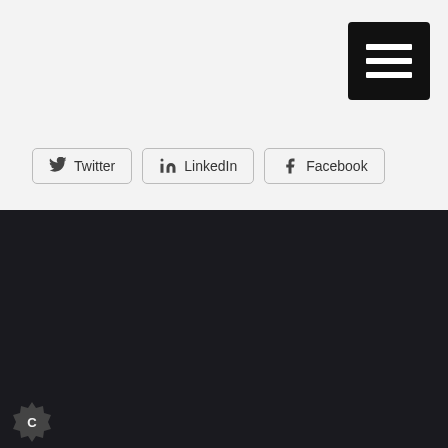[Figure (other): Hamburger menu button (three horizontal white bars on black rounded rectangle background)]
Twitter
LinkedIn
Facebook
© IR Global 2022
+44 (0) 1675 443 396
info@irglobal.com
UK Head Office
The Piggery,
[...]house Farm,